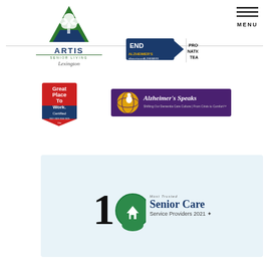[Figure (logo): Artis Senior Living Lexington logo - green triangle with white tree and blue base, text ARTIS SENIOR LIVING in blue with green underline, Lexington in italic below]
[Figure (logo): Menu icon - three horizontal lines above text MENU]
[Figure (logo): End Alzheimer's logo with arrow graphic]
[Figure (logo): PROUD NATIONAL TEAM text badge]
[Figure (logo): Great Place To Work Certified badge in red and blue]
[Figure (logo): Alzheimer's Speaks logo - purple banner with globe and yellow text]
[Figure (logo): Most Trusted 10 Senior Care Service Providers 2021 badge on light blue background]